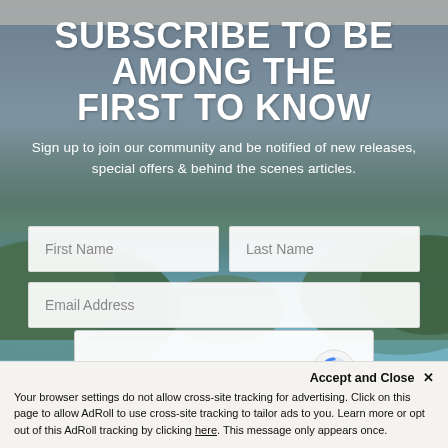SUBSCRIBE TO BE AMONG THE FIRST TO KNOW
Sign up to join our community and be notified of new releases, special offers & behind the scenes articles.
[Figure (screenshot): Web subscription form with fields for First Name, Last Name, Email Address, and a reCAPTCHA 'I'm not a robot' widget, set against a scenic ocean and island background]
Accept and Close ✕
Your browser settings do not allow cross-site tracking for advertising. Click on this page to allow AdRoll to use cross-site tracking to tailor ads to you. Learn more or opt out of this AdRoll tracking by clicking here. This message only appears once.